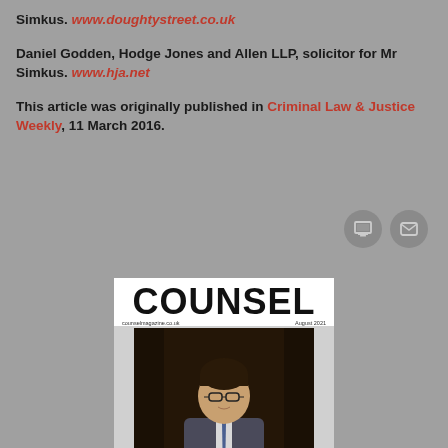Simkus. www.doughtystreet.co.uk
Daniel Godden, Hodge Jones and Allen LLP, solicitor for Mr Simkus. www.hja.net
This article was originally published in Criminal Law & Justice Weekly, 11 March 2016.
[Figure (photo): Cover of Counsel magazine showing a man in a suit with glasses, published August 2021]